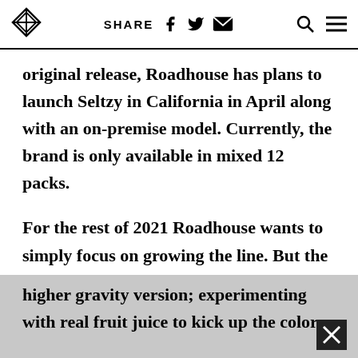SHARE [Facebook] [Twitter] [Email] [Search] [Menu]
original release, Roadhouse has plans to launch Seltzy in California in April along with an on-premise model. Currently, the brand is only available in mixed 12 packs.
For the rest of 2021 Roadhouse wants to simply focus on growing the line. But the idea for new flavors isn't far behind. Shafer is currently working on new flavors such as huckleberry, lemonade, and watermelon; playing around with a higher gravity version; experimenting with real fruit juice to kick up the color;